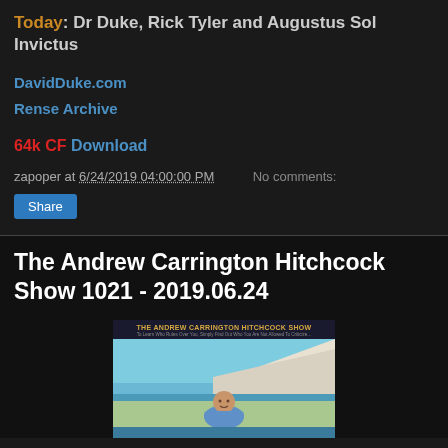Today: Dr Duke, Rick Tyler and Augustus Sol Invictus
DavidDuke.com
Rense Archive
64k CF Download
zapoper at 6/24/2019 04:00:00 PM   No comments:
Share
The Andrew Carrington Hitchcock Show 1021 - 2019.06.24
[Figure (photo): The Andrew Carrington Hitchcock Show banner/thumbnail image showing show title text and a person standing outdoors near water with cliffs in background]